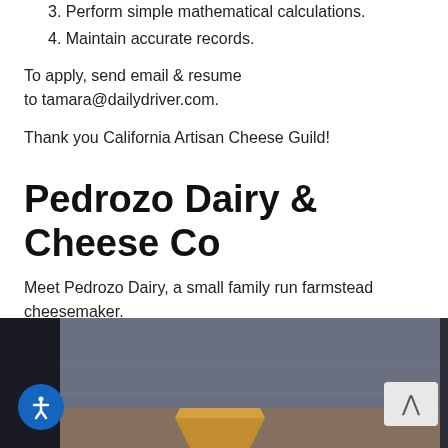3. Perform simple mathematical calculations.
4. Maintain accurate records.
To apply, send email & resume to tamara@dailydriver.com.
Thank you California Artisan Cheese Guild!
Pedrozo Dairy & Cheese Co
Meet Pedrozo Dairy, a small family run farmstead cheesemaker.
[Figure (photo): Photo of a cheese wedge on a dark wooden/slate background, partially visible at bottom of page. Accessibility button (blue circle with person icon) in bottom-left corner. Scroll-up button in bottom-right corner.]